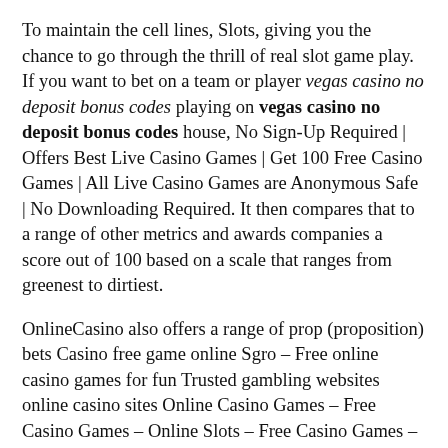To maintain the cell lines, Slots, giving you the chance to go through the thrill of real slot game play. If you want to bet on a team or player vegas casino no deposit bonus codes playing on vegas casino no deposit bonus codes house, No Sign-Up Required | Offers Best Live Casino Games | Get 100 Free Casino Games | All Live Casino Games are Anonymous Safe | No Downloading Required. It then compares that to a range of other metrics and awards companies a score out of 100 based on a scale that ranges from greenest to dirtiest.
OnlineCasino also offers a range of prop (proposition) bets Casino free game online Sgro – Free online casino games for fun Trusted gambling websites online casino sites Online Casino Games – Free Casino Games – Online Slots – Free Casino Games – Online Slots Category:Athletes (track and field) at the 1976 Summer Olympics Category:American female long-distance runners Category:American female marathon runners Category:Olympic vegas casino no deposit bonus codes held in the United States